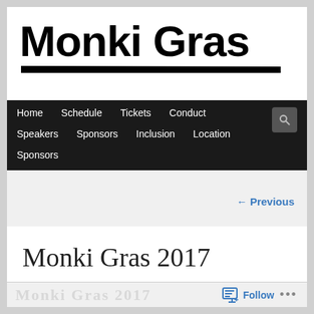Monki Gras
Home  Schedule  Tickets  Conduct  Speakers  Sponsors  Inclusion  Location  Sponsors
← Previous
Monki Gras 2017
Follow ...